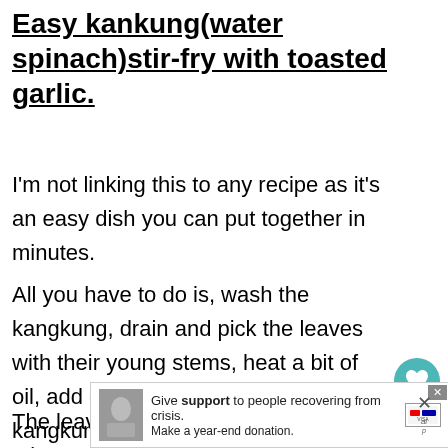Easy kankung(water spinach)stir-fry with toasted garlic.
I'm not linking this to any recipe as it's an easy dish you can put together in minutes.
All you have to do is, wash the kangkung, drain and pick the leaves with their young stems, heat a bit of oil, add garlic slivers to and the kangkung into the pan,
The leaves will wilt quickly so just 1-2 minutes of
[Figure (screenshot): Social share panel with heart icon (teal, count: 4) and share icon on right side]
[Figure (screenshot): What's Next widget showing Sri Lankan Lunch meal thumbnail and label]
[Figure (screenshot): Advertisement banner: Give support to people recovering from crisis. Make a year-end donation.]